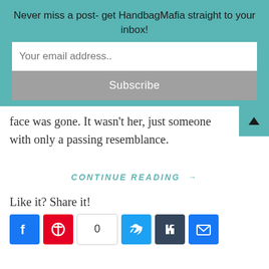Never miss a post- get HandbagMafia straight to your inbox!
Your email address..
Subscribe
face was gone. It wasn't her, just someone with only a passing resemblance.
CONTINUE READING →
Like it? Share it!
[Figure (other): Social share buttons: Facebook, Pinterest, count (0), Twitter, Tumblr, Email]